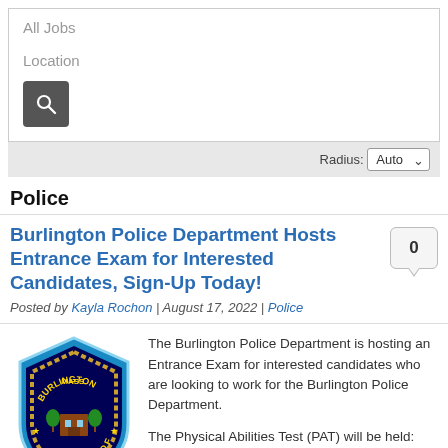All Jobs
Location
Radius: Auto
Police
Burlington Police Department Hosts Entrance Exam for Interested Candidates, Sign-Up Today!
Posted by Kayla Rochon | August 17, 2022 | Police
[Figure (logo): Burlington Police Department badge/seal with blue background, shield shape, and text BURLINGTON MASS and POLICE]
The Burlington Police Department is hosting an Entrance Exam for interested candidates who are looking to work for the Burlington Police Department.

The Physical Abilities Test (PAT) will be held: Saturday, Oct. 1 at 9 a.m. and the Written Exam will be held Saturday Oct. 15 at 9 a.m. After